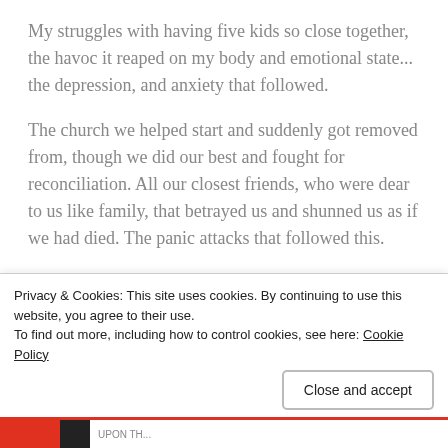My struggles with having five kids so close together, the havoc it reaped on my body and emotional state... the depression, and anxiety that followed.
The church we helped start and suddenly got removed from, though we did our best and fought for reconciliation. All our closest friends, who were dear to us like family, that betrayed us and shunned us as if we had died. The panic attacks that followed this.
Works Best
[Figure (screenshot): Blue 'SEE PRICING' button partially visible]
Privacy & Cookies: This site uses cookies. By continuing to use this website, you agree to their use.
To find out more, including how to control cookies, see here: Cookie Policy
Close and accept